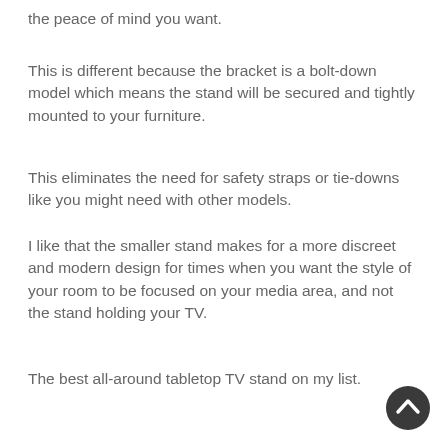the peace of mind you want.
This is different because the bracket is a bolt-down model which means the stand will be secured and tightly mounted to your furniture.
This eliminates the need for safety straps or tie-downs like you might need with other models.
I like that the smaller stand makes for a more discreet and modern design for times when you want the style of your room to be focused on your media area, and not the stand holding your TV.
The best all-around tabletop TV stand on my list.
[Figure (illustration): A dark circular back-to-top button with an upward-pointing chevron arrow icon in the bottom-right corner of the page.]